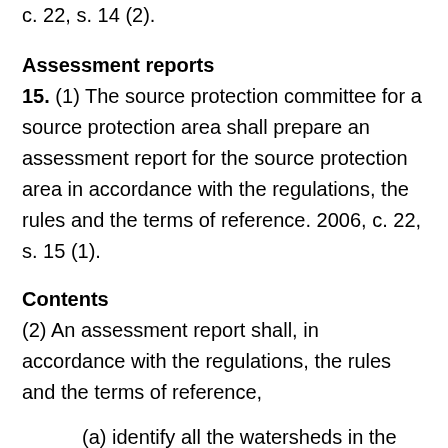c. 22, s. 14 (2).
Assessment reports
15. (1) The source protection committee for a source protection area shall prepare an assessment report for the source protection area in accordance with the regulations, the rules and the terms of reference. 2006, c. 22, s. 15 (1).
Contents
(2) An assessment report shall, in accordance with the regulations, the rules and the terms of reference,
(a) identify all the watersheds in the source protection area;
(b) characterize the quality and quantity of...